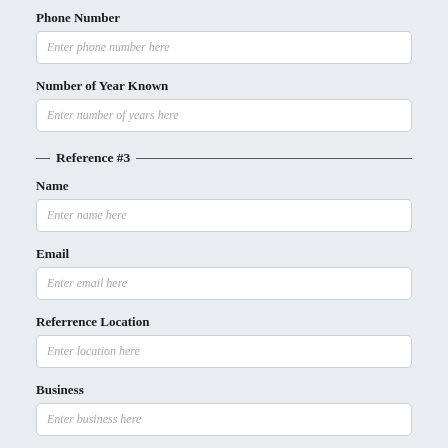Phone Number
Enter phone number here
Number of Year Known
Enter number of years here
Reference #3
Name
Enter name here
Email
Enter email here
Referrence Location
Enter location here
Business
Enter business here
Phone Number
Enter phone number here